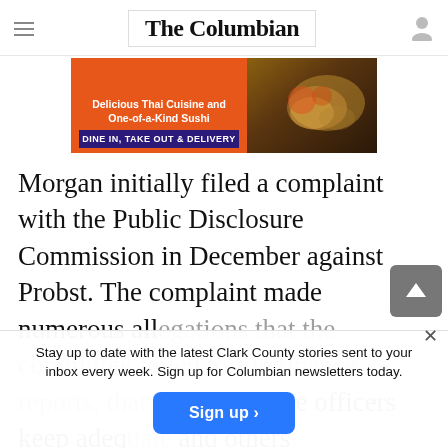The Columbian
[Figure (other): Advertisement banner for Thai cuisine and sushi restaurant: 'Delicious Thai Cuisine and One-of-a-Kind Sushi' / 'DINE IN, TAKE OUT & DELIVERY' with food photo]
Morgan initially filed a complaint with the Public Disclosure Commission in December against Probst. The complaint made numerous allegations that the committee failed to file finance reports, that the committee officers keep ade... and others
Stay up to date with the latest Clark County stories sent to your inbox every week. Sign up for Columbian newsletters today.
Sign up >